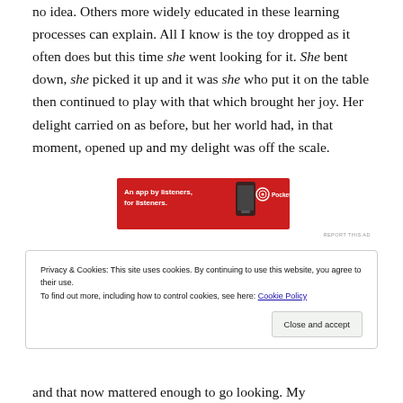no idea. Others more widely educated in these learning processes can explain. All I know is the toy dropped as it often does but this time she went looking for it. She bent down, she picked it up and it was she who put it on the table then continued to play with that which brought her joy. Her delight carried on as before, but her world had, in that moment, opened up and my delight was off the scale.
[Figure (other): Red advertisement banner for Pocket Casts app with text 'An app by listeners, for listeners.' and Pocket Casts logo with a phone image on the right.]
REPORT THIS AD
Privacy & Cookies: This site uses cookies. By continuing to use this website, you agree to their use.
To find out more, including how to control cookies, see here: Cookie Policy

Close and accept
and that now mattered enough to go looking. My